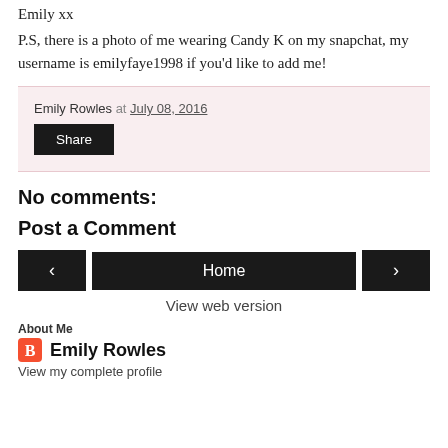Emily xx
P.S, there is a photo of me wearing Candy K on my snapchat, my username is emilyfaye1998 if you'd like to add me!
Emily Rowles at July 08, 2016
Share
No comments:
Post a Comment
Home
View web version
About Me
Emily Rowles
View my complete profile